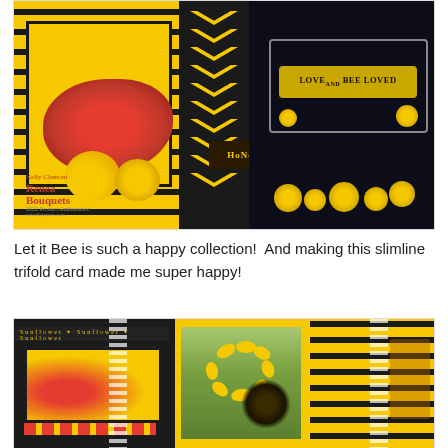[Figure (photo): Photo of a handmade slimline trifold card using the 'Let it Bee' collection. Features yellow and black striped panels, sunflower and bee decorations, chevron patterns, a 'Love and Bee Loved' card, and a 'Honey' tag. Includes the Renea Bouquets logo.]
Let it Bee is such a happy collection!  And making this slimline trifold card made me super happy!
[Figure (photo): Photo of the inside panels of the slimline trifold card. Three panels visible: left panel with black and sunflower patterned papers and red striped accents with lace ribbon, middle panel with a large sunflower illustration on yellow background, right panel with yellow and black diagonal stripes and lace ribbon.]